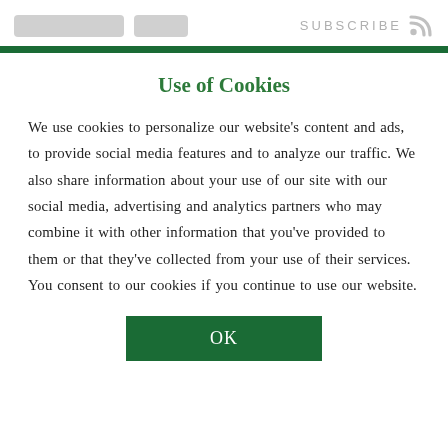SUBSCRIBE
Use of Cookies
We use cookies to personalize our website's content and ads, to provide social media features and to analyze our traffic. We also share information about your use of our site with our social media, advertising and analytics partners who may combine it with other information that you've provided to them or that they've collected from your use of their services. You consent to our cookies if you continue to use our website.
OK